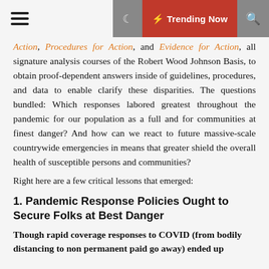☰ | 🌙 ⚡ Trending Now 🔍
Action, Procedures for Action, and Evidence for Action, all signature analysis courses of the Robert Wood Johnson Basis, to obtain proof-dependent answers inside of guidelines, procedures, and data to enable clarify these disparities. The questions bundled: Which responses labored greatest throughout the pandemic for our population as a full and for communities at finest danger? And how can we react to future massive-scale countrywide emergencies in means that greater shield the overall health of susceptible persons and communities?
Right here are a few critical lessons that emerged:
1. Pandemic Response Policies Ought to Secure Folks at Best Danger
Though rapid coverage responses to COVID (from bodily distancing to non permanent paid go away) ended up